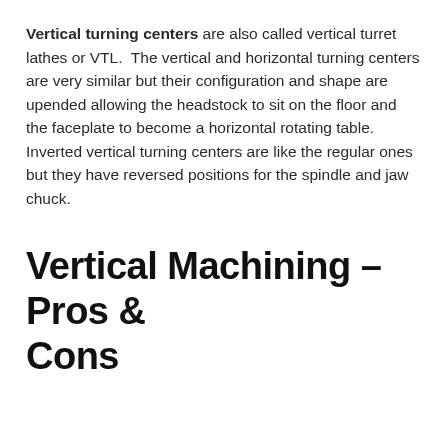Vertical turning centers are also called vertical turret lathes or VTL. The vertical and horizontal turning centers are very similar but their configuration and shape are upended allowing the headstock to sit on the floor and the faceplate to become a horizontal rotating table. Inverted vertical turning centers are like the regular ones but they have reversed positions for the spindle and jaw chuck.
Vertical Machining – Pros & Cons